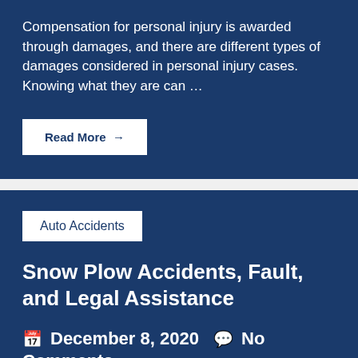Compensation for personal injury is awarded through damages, and there are different types of damages considered in personal injury cases. Knowing what they are can …
Read More →
Auto Accidents
Snow Plow Accidents, Fault, and Legal Assistance
December 8, 2020  No Comments